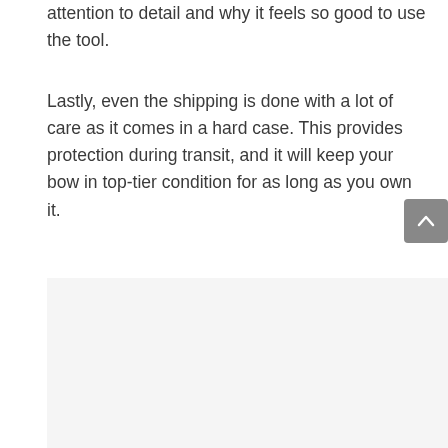attention to detail and why it feels so good to use the tool.
Lastly, even the shipping is done with a lot of care as it comes in a hard case. This provides protection during transit, and it will keep your bow in top-tier condition for as long as you own it.